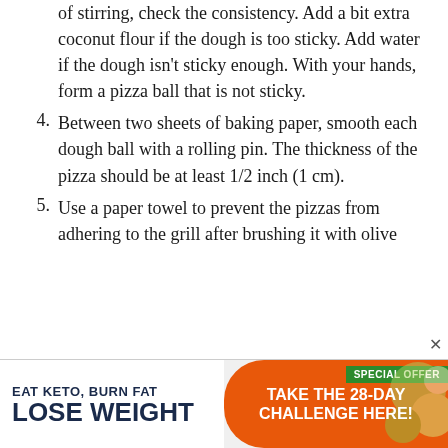of stirring, check the consistency. Add a bit extra coconut flour if the dough is too sticky. Add water if the dough isn't sticky enough. With your hands, form a pizza ball that is not sticky.
4. Between two sheets of baking paper, smooth each dough ball with a rolling pin. The thickness of the pizza should be at least 1/2 inch (1 cm).
5. Use a paper towel to prevent the pizzas from adhering to the grill after brushing it with olive
[Figure (infographic): Advertisement banner: 'EAT KETO, BURN FAT / LOSE WEIGHT' on the left, orange pill-shaped button 'TAKE THE 28-DAY CHALLENGE HERE!' with 'SPECIAL OFFER' green badge on the right, with vegetable photo background.]